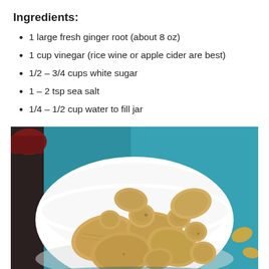Ingredients:
1 large fresh ginger root (about 8 oz)
1 cup vinegar (rice wine or apple cider are best)
1/2 – 3/4 cups white sugar
1 – 2 tsp sea salt
1/4 – 1/2 cup water to fill jar
[Figure (photo): A white bowl filled with sliced fresh ginger root pieces, placed on a surface with a teal/blue background visible.]